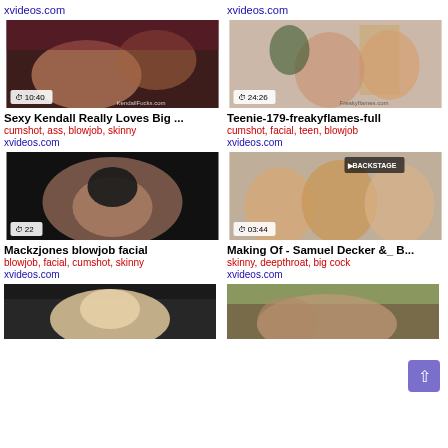xvideos.com | xvideos.com
[Figure (photo): Video thumbnail: Sexy Kendall Really Loves Big... Duration 10:40, KendallFucks.com watermark]
Sexy Kendall Really Loves Big ...
cumshot, ass, blowjob, skinny
xvideos.com
[Figure (photo): Video thumbnail: Teenie-179-freakyflames-full. Duration 24:26, Freakyflames.com watermark]
Teenie-179-freakyflames-full
cumshot, facial, teen, blowjob
xvideos.com
[Figure (photo): Video thumbnail: Mackzjones blowjob facial. Duration 22]
Mackzjones blowjob facial
blowjob, facial, cumshot, skinny
xvideos.com
[Figure (photo): Video thumbnail: Making Of - Samuel Decker &_B... Duration 03:44, Backstage watermark]
Making Of - Samuel Decker &_ B...
skinny, deepthroat, big cock
xvideos.com
[Figure (photo): Partial thumbnail of blonde woman video]
[Figure (photo): Partial thumbnail of group scene video]